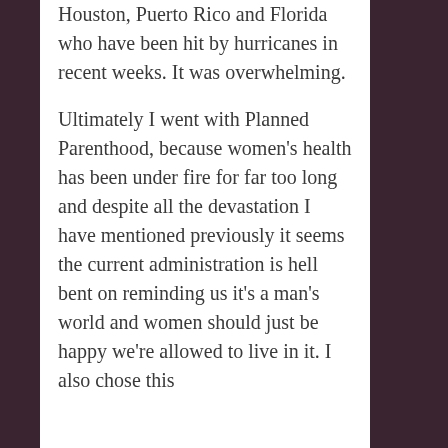Houston, Puerto Rico and Florida who have been hit by hurricanes in recent weeks. It was overwhelming.
Ultimately I went with Planned Parenthood, because women's health has been under fire for far too long and despite all the devastation I have mentioned previously it seems the current administration is hell bent on reminding us it's a man's world and women should just be happy we're allowed to live in it. I also chose this